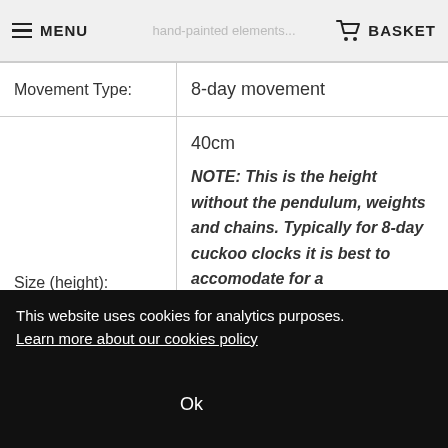MENU | hand-painted elements... | BASKET
|  |  |
| --- | --- |
| Movement Type: | 8-day movement |
| Size (height): | 40cm
NOTE: This is the height without the pendulum, weights and chains. Typically for 8-day cuckoo clocks it is best to accomodate for a |
|  | hour and then on each hour |
This website uses cookies for analytics purposes. Learn more about our cookies policy
Ok